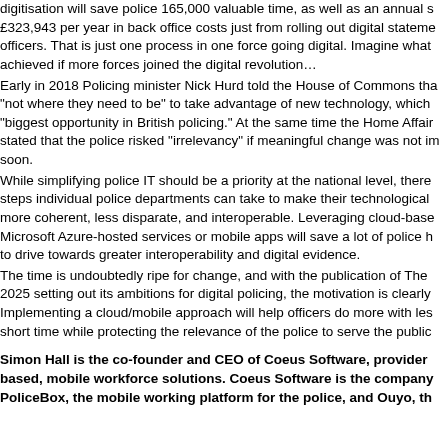digitisation will save police 165,000 valuable time, as well as an annual saving of £323,943 per year in back office costs just from rolling out digital statements to officers. That is just one process in one force going digital. Imagine what could be achieved if more forces joined the digital revolution…
Early in 2018 Policing minister Nick Hurd told the House of Commons that forces were "not where they need to be" to take advantage of new technology, which he called the "biggest opportunity in British policing." At the same time the Home Affairs Select Committee stated that the police risked "irrelevancy" if meaningful change was not implemented soon.
While simplifying police IT should be a priority at the national level, there are steps individual police departments can take to make their technological infrastructure more coherent, less disparate, and interoperable. Leveraging cloud-based solutions like Microsoft Azure-hosted services or mobile apps will save a lot of police headaches and help to drive towards greater interoperability and digital evidence.
The time is undoubtedly ripe for change, and with the publication of The Policing Vision 2025 setting out its ambitions for digital policing, the motivation is clearly there. Implementing a cloud/mobile approach will help officers do more with less in a very short time while protecting the relevance of the police to serve the public.
Simon Hall is the co-founder and CEO of Coeus Software, provider of cloud-based, mobile workforce solutions. Coeus Software is the company behind PoliceBox, the mobile working platform for the police, and Ouvo, the mobile working platform for the police, and Ouvo, the